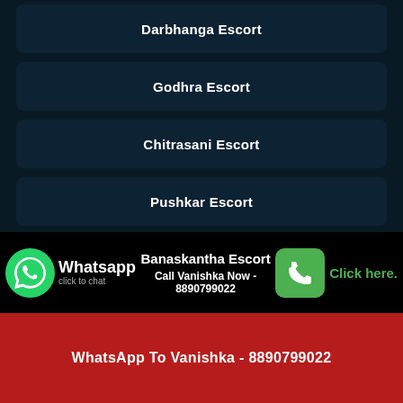Darbhanga Escort
Godhra Escort
Chitrasani Escort
Pushkar Escort
Dharamshala Escort
Indore Escort
Mahasamund Escort
Banaskantha Escort
Call Vanishka Now - 8890799022
WhatsApp To Vanishka - 8890799022